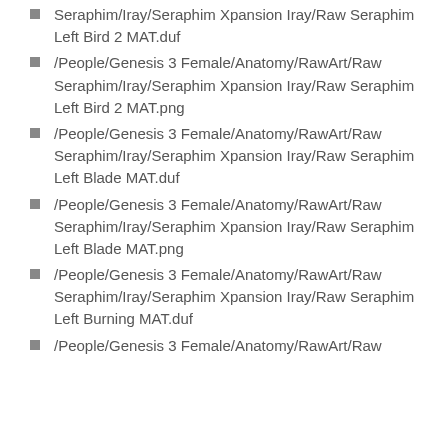Seraphim/Iray/Seraphim Xpansion Iray/Raw Seraphim Left Bird 2 MAT.duf
/People/Genesis 3 Female/Anatomy/RawArt/Raw Seraphim/Iray/Seraphim Xpansion Iray/Raw Seraphim Left Bird 2 MAT.png
/People/Genesis 3 Female/Anatomy/RawArt/Raw Seraphim/Iray/Seraphim Xpansion Iray/Raw Seraphim Left Blade MAT.duf
/People/Genesis 3 Female/Anatomy/RawArt/Raw Seraphim/Iray/Seraphim Xpansion Iray/Raw Seraphim Left Blade MAT.png
/People/Genesis 3 Female/Anatomy/RawArt/Raw Seraphim/Iray/Seraphim Xpansion Iray/Raw Seraphim Left Burning MAT.duf
/People/Genesis 3 Female/Anatomy/RawArt/Raw